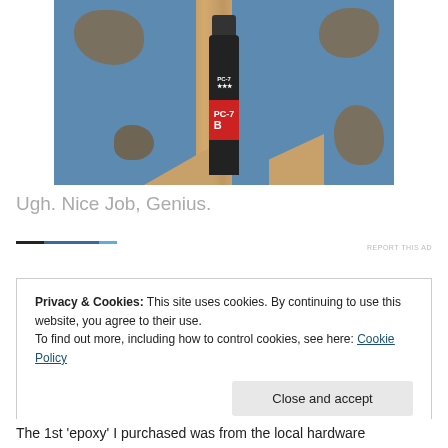[Figure (photo): Photo of a PC-7 epoxy bottle (part B, black bottle with red label) resting on a wooden dowel/rod against a blue background with gray mud/clay patches on the sides]
Ugh. Nice Job, Genius.
REPORT THIS AD
Privacy & Cookies: This site uses cookies. By continuing to use this website, you agree to their use.
To find out more, including how to control cookies, see here: Cookie Policy
Close and accept
The 1st 'epoxy' I purchased was from the local hardware